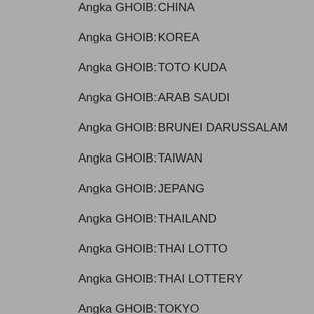Angka GHOIB:CHINA
Angka GHOIB:KOREA
Angka GHOIB:TOTO KUDA
Angka GHOIB:ARAB SAUDI
Angka GHOIB:BRUNEI DARUSSALAM
Angka GHOIB:TAIWAN
Angka GHOIB:JEPANG
Angka GHOIB:THAILAND
Angka GHOIB:THAI LOTTO
Angka GHOIB:THAI LOTTERY
Angka GHOIB:TOKYO
Angka GHOIB:MACAU